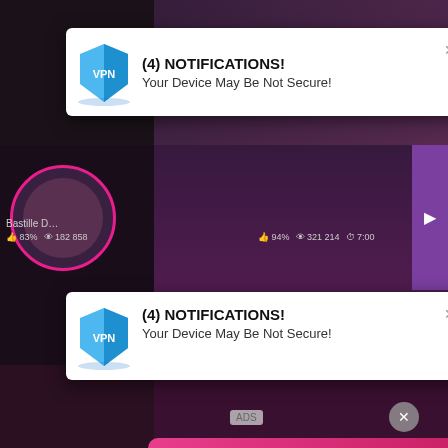[Figure (screenshot): Background: adult video website grid with multiple video thumbnails in dark/purple tones]
Bastille D...
83%  182 858
94%  321 214  7:00
[Figure (screenshot): VPN notification popup 1: (4) NOTIFICATIONS! Your Device May Be Not Secure!]
(4) NOTIFICATIONS!
Your Device May Be Not Secure!
[Figure (screenshot): VPN notification popup 2: (4) NOTIFICATIONS! Your Device May Be Not Secure!]
(4) NOTIFICATIONS!
Your Device May Be Not Secure!
ADS
Angel is typing ... □
(1) unread message
LIVE
Old p...
100
[Figure (screenshot): Missed call notification card: ADS, (1)Missed Call from Eliza, pleeease call me back.. I miss you!, audio player with 0:00 to 3:23 timeline, playback controls]
ADS
(1)Missed Call from Eliza
pleeease call me back.. I miss you!
0:00
3:23